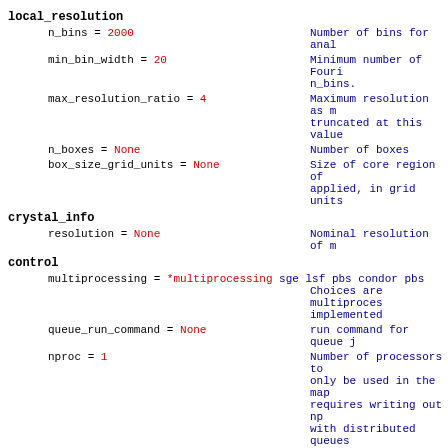local_resolution
n_bins = 2000    Number of bins for anal
min_bin_width = 20    Minimum number of Fouri n_bins.
max_resolution_ratio = 4    Maximum resolution as m truncated at this value
n_boxes = None    Number of boxes
box_size_grid_units = None    Size of core region of applied, in grid units
crystal_info
resolution = None    Nominal resolution of m
control
multiprocessing = *multiprocessing sge lsf pbs condor pbs Choices are multiproces implemented
queue_run_command = None    run command for queue j
nproc = 1    Number of processors to only be used in the map requires writing out np with distributed queues True.
gui
GUI-specific parameter
output_dir = None